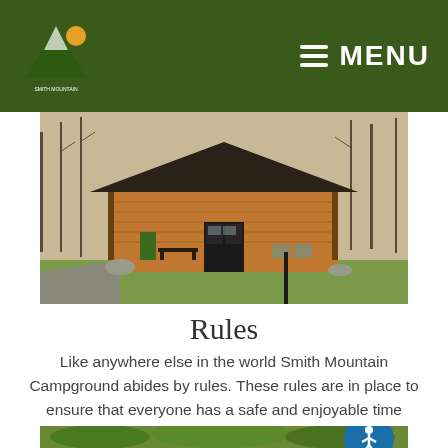Smith Mountain Campground — MENU
[Figure (photo): Log cabin with dark roof, porch with bench and chairs, surrounded by bare trees on grassy area]
Rules
Like anywhere else in the world Smith Mountain Campground abides by rules. These rules are in place to ensure that everyone has a safe and enjoyable time during their stay.
[Figure (photo): Partial view of trees and green foliage at bottom of page]